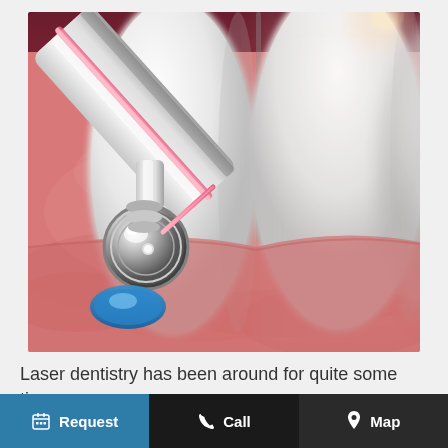[Figure (illustration): Close-up dental illustration showing white teeth with pink gums, and a dental laser tool with a metallic silver handpiece and pink fiber optic tip approaching the gumline. Blue accents visible at bottom left of the instrument.]
Laser dentistry has been around for quite some time
[Figure (infographic): Bottom navigation bar with three buttons: Request (calendar icon, blue background), Call (phone icon, black background), Map (pin icon, dark background).]